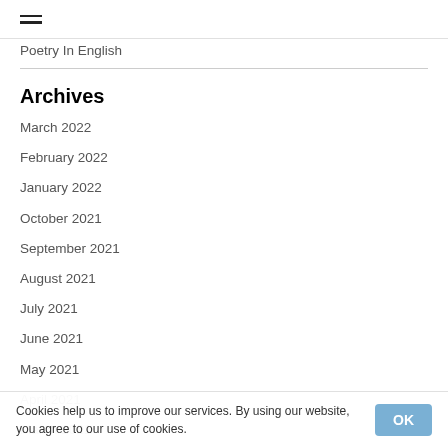☰
Poetry In English
Archives
March 2022
February 2022
January 2022
October 2021
September 2021
August 2021
July 2021
June 2021
May 2021
April 2021
March 2021
February 2021
January 2021
December 2020
Cookies help us to improve our services. By using our website, you agree to our use of cookies.